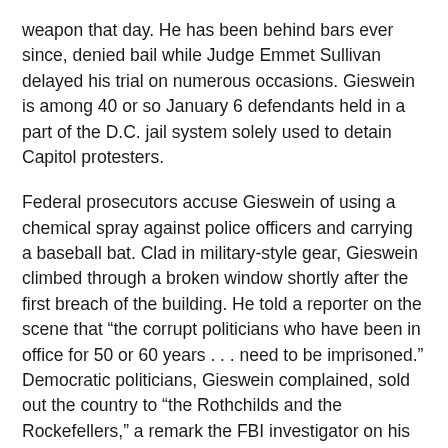weapon that day. He has been behind bars ever since, denied bail while Judge Emmet Sullivan delayed his trial on numerous occasions. Gieswein is among 40 or so January 6 defendants held in a part of the D.C. jail system solely used to detain Capitol protesters.
Federal prosecutors accuse Gieswein of using a chemical spray against police officers and carrying a baseball bat. Clad in military-style gear, Gieswein climbed through a broken window shortly after the first breach of the building. He told a reporter on the scene that “the corrupt politicians who have been in office for 50 or 60 years . . . need to be imprisoned.” Democratic politicians, Gieswein complained, sold out the country to “the Rothchilds and the Rockefellers,” a remark the FBI investigator on his case described as an “anti-Semitic” conspiracy theory.
READ MORE
Commentary, News  camera footage, crime, defense attorney,